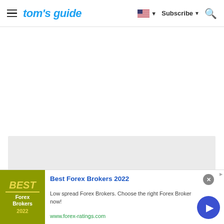tom's guide — Subscribe
[Figure (screenshot): Gray placeholder content area below the Tom's Guide header navigation]
[Figure (infographic): Advertisement banner: Best Forex Brokers 2022 — Low spread Forex Brokers. Choose the right Forex Broker now! www.forex-ratings.com]